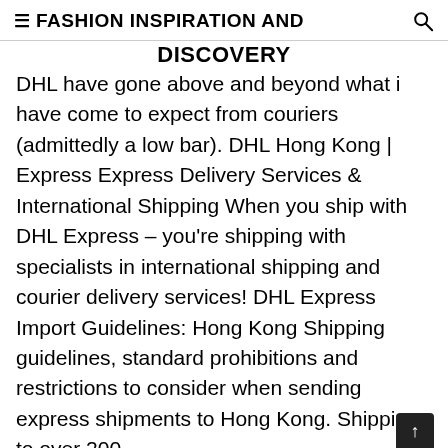≡ FASHION INSPIRATION AND DISCOVERY
DHL have gone above and beyond what i have come to expect from couriers (admittedly a low bar). DHL Hong Kong | Express Express Delivery Services & International Shipping When you ship with DHL Express – you're shipping with specialists in international shipping and courier delivery services! DHL Express Import Guidelines: Hong Kong Shipping guidelines, standard prohibitions and restrictions to consider when sending express shipments to Hong Kong. Shipping to over 200